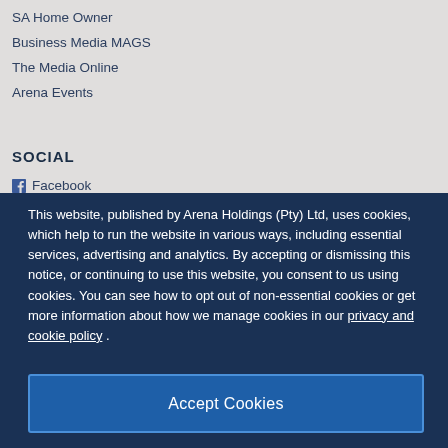SA Home Owner
Business Media MAGS
The Media Online
Arena Events
SOCIAL
Facebook
This website, published by Arena Holdings (Pty) Ltd, uses cookies, which help to run the website in various ways, including essential services, advertising and analytics. By accepting or dismissing this notice, or continuing to use this website, you consent to us using cookies. You can see how to opt out of non-essential cookies or get more information about how we manage cookies in our privacy and cookie policy .
Accept Cookies